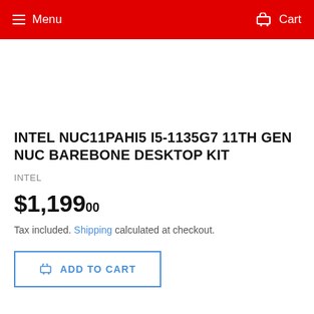Menu   Cart
INTEL NUC11PAHI5 I5-1135G7 11TH GEN NUC BAREBONE DESKTOP KIT
INTEL
$1,199.00
Tax included. Shipping calculated at checkout.
ADD TO CART